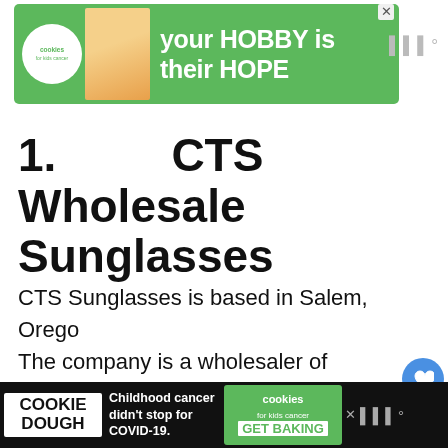[Figure (screenshot): Top advertisement banner for Cookies for Kids Cancer: 'your HOBBY is their HOPE' on green background with logo and hand holding heart]
1.   CTS Wholesale Sunglasses
CTS Sunglasses is based in Salem, Oregon. The company is a wholesaler of sunglasses accessories, and reading glasses. They have been operating in the market for 25 y…
[Figure (screenshot): Bottom advertisement banner: COOKIE DOUGH / Childhood cancer didn't stop for COVID-19. / cookies for kids cancer / GET BAKING]